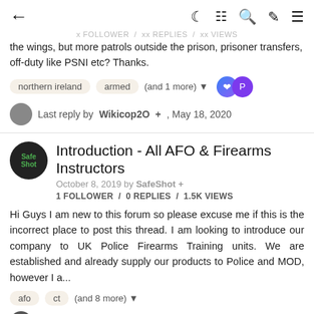← (back) | (moon icon) (reading mode) (search) (brush) (menu)
the wings, but more patrols outside the prison, prisoner transfers, off-duty like PSNI etc? Thanks.
northern ireland | armed | (and 1 more)
Last reply by Wikicop2O +, May 18, 2020
Introduction - All AFO & Firearms Instructors
October 8, 2019 by SafeShot +
1 FOLLOWER / 0 REPLIES / 1.5K VIEWS
Hi Guys I am new to this forum so please excuse me if this is the incorrect place to post this thread. I am looking to introduce our company to UK Police Firearms Training units. We are established and already supply our products to Police and MOD, however I a...
afo | ct | (and 8 more)
Last reply by SafeShot +, October 8, 2019